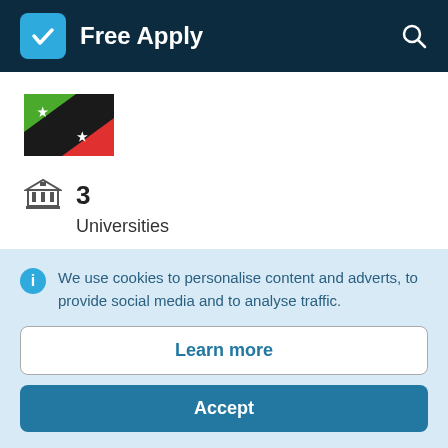Free Apply
[Figure (illustration): Flag of Saint Kitts and Nevis — green, black, red diagonal stripes with two white stars on black stripe]
3
Universities
3
We use cookies to personalise content and adverts, to provide social media and to analyse traffic.
Learn more
Accept